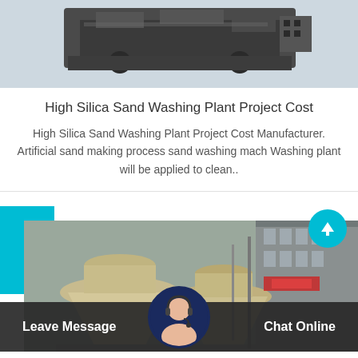[Figure (photo): Industrial machinery equipment photo at top of page]
High Silica Sand Washing Plant Project Cost
High Silica Sand Washing Plant Project Cost Manufacturer. Artificial sand making process sand washing mach Washing plant will be applied to clean..
[Figure (photo): Industrial cone crusher machines in a factory/plant setting]
Leave Message  Chat Online